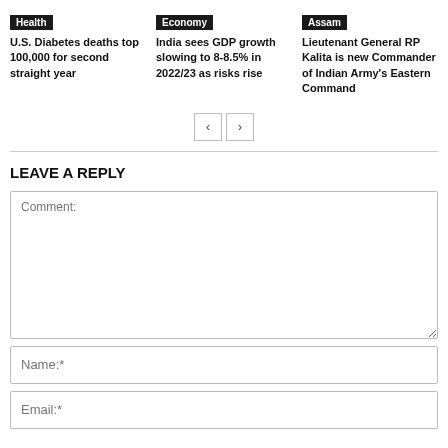Health
U.S. Diabetes deaths top 100,000 for second straight year
Economy
India sees GDP growth slowing to 8-8.5% in 2022/23 as risks rise
Assam
Lieutenant General RP Kalita is new Commander of Indian Army's Eastern Command
[Figure (other): Pagination controls with left and right arrow buttons]
LEAVE A REPLY
Comment:
Name:*
Email:*